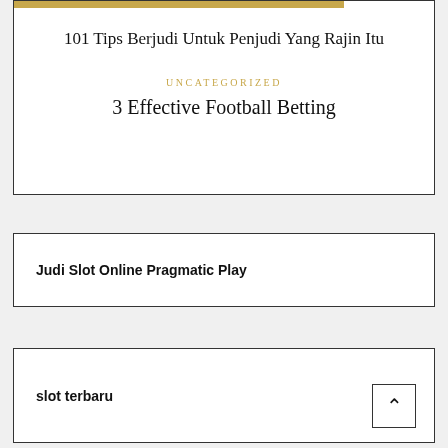101 Tips Berjudi Untuk Penjudi Yang Rajin Itu
UNCATEGORIZED
3 Effective Football Betting
Judi Slot Online Pragmatic Play
slot terbaru